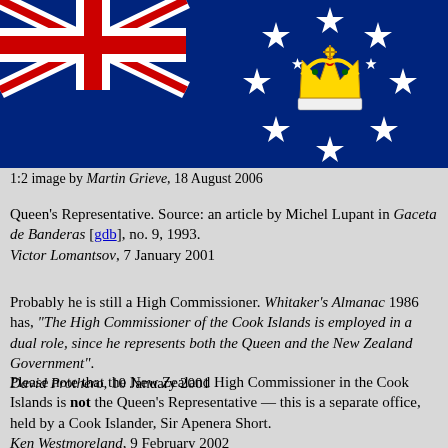[Figure (illustration): Cook Islands flag — dark blue background with Union Jack in upper left canton and a circle of 15 white stars with a St. Edward's Crown in the centre-right area]
1:2 image by Martin Grieve, 18 August 2006
Queen's Representative. Source: an article by Michel Lupant in Gaceta de Banderas [gdb], no. 9, 1993.
Victor Lomantsov, 7 January 2001
Probably he is still a High Commissioner. Whitaker's Almanac 1986 has, "The High Commissioner of the Cook Islands is employed in a dual role, since he represents both the Queen and the New Zealand Government".
David Prothero, 10 January 2001
Please note that the New Zealand High Commissioner in the Cook Islands is not the Queen's Representative — this is a separate office, held by a Cook Islander, Sir Apenera Short.
Ken Westmoreland, 9 February 2002
Sir Apenera was replaced by Sir Frederick Goodwin as Queen's